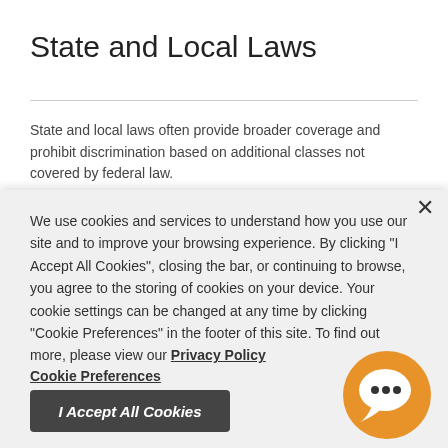State and Local Laws
State and local laws often provide broader coverage and prohibit discrimination based on additional classes not covered by federal law.
We use cookies and services to understand how you use our site and to improve your browsing experience. By clicking "I Accept All Cookies", closing the bar, or continuing to browse, you agree to the storing of cookies on your device. Your cookie settings can be changed at any time by clicking "Cookie Preferences" in the footer of this site. To find out more, please view our Privacy Policy
Cookie Preferences
I Accept All Cookies
[Figure (illustration): Orange circular chat bubble icon with three dots and a speech tail, representing a live chat widget.]